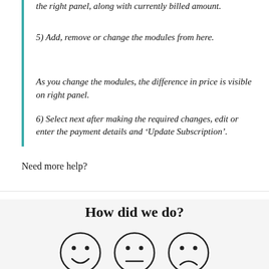the right panel, along with currently billed amount.
5) Add, remove or change the modules from here.
As you change the modules, the difference in price is visible on right panel.
6) Select next after making the required changes, edit or enter the payment details and ‘Update Subscription’.
Need more help?
How did we do?
[Figure (illustration): Three emoji-style faces: happy, neutral, and sad, representing feedback options.]